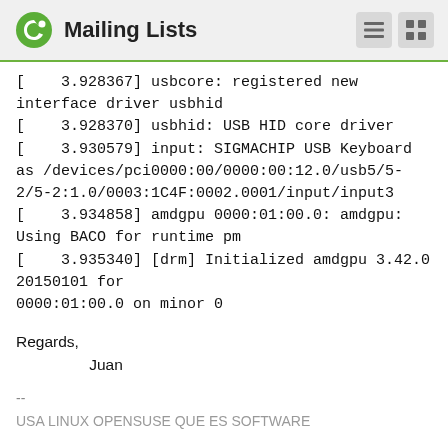Mailing Lists
[    3.928367] usbcore: registered new interface driver usbhid
[    3.928370] usbhid: USB HID core driver
[    3.930579] input: SIGMACHIP USB Keyboard as /devices/pci0000:00/0000:00:12.0/usb5/5-2/5-2:1.0/0003:1C4F:0002.0001/input/input3
[    3.934858] amdgpu 0000:01:00.0: amdgpu: Using BACO for runtime pm
[    3.935340] [drm] Initialized amdgpu 3.42.0 20150101 for
0000:01:00.0 on minor 0
Regards,
        Juan
--
USA LINUX OPENSUSE QUE ES SOFTWARE